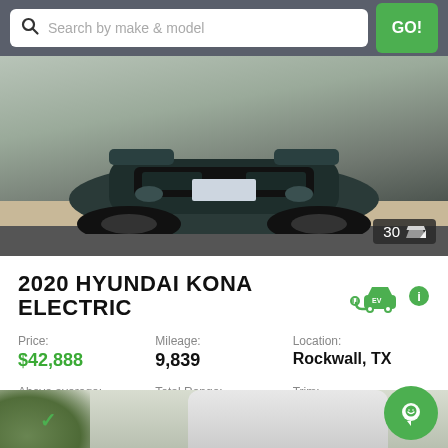Search by make & model  GO!
[Figure (photo): Front view of a dark/teal Hyundai Kona Electric parked on brick pavement. Photo count badge showing 30 images.]
2020 HYUNDAI KONA ELECTRIC
| Field | Value |
| --- | --- |
| Price: | $42,888 |
| Mileage: | 9,839 |
| Location: | Rockwall, TX |
| Above average: | ↑ $4,003 |
| Total Range: | 258 Mi |
| Trim: | Limited |
[Figure (photo): Partial view of a white SUV parked near greenery at the bottom of the screen, with a green chat bubble button overlaid.]